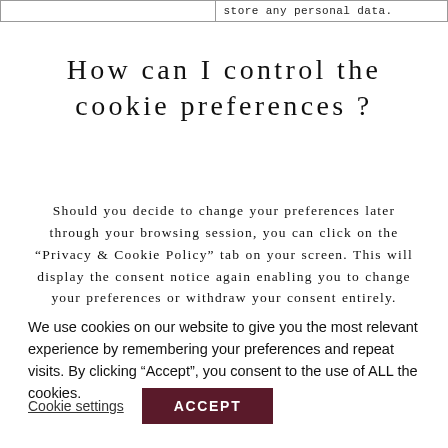|  | store any personal data. |
How can I control the cookie preferences ?
Should you decide to change your preferences later through your browsing session, you can click on the “Privacy & Cookie Policy” tab on your screen. This will display the consent notice again enabling you to change your preferences or withdraw your consent entirely.
We use cookies on our website to give you the most relevant experience by remembering your preferences and repeat visits. By clicking “Accept”, you consent to the use of ALL the cookies.
Cookie settings   ACCEPT